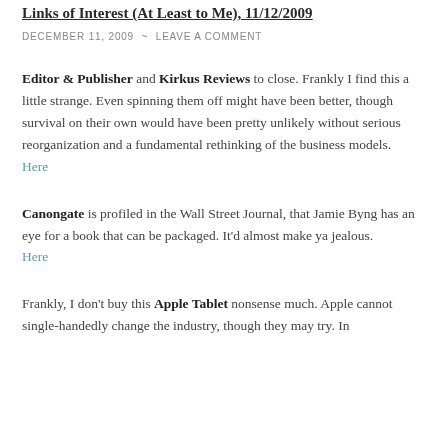Links of Interest (At Least to Me), 11/12/2009
DECEMBER 11, 2009 ~ LEAVE A COMMENT
Editor & Publisher and Kirkus Reviews to close. Frankly I find this a little strange. Even spinning them off might have been better, though survival on their own would have been pretty unlikely without serious reorganization and a fundamental rethinking of the business models.
Here
Canongate is profiled in the Wall Street Journal, that Jamie Byng has an eye for a book that can be packaged. It'd almost make ya jealous.
Here
Frankly, I don't buy this Apple Tablet nonsense much. Apple cannot single-handedly change the industry, though they may try. In